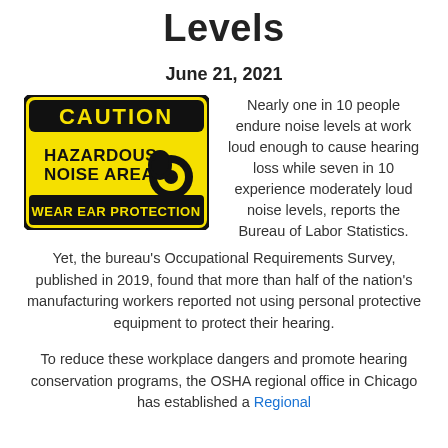Levels
June 21, 2021
[Figure (illustration): Yellow and black CAUTION sign reading: CAUTION HAZARDOUS NOISE AREA WEAR EAR PROTECTION with a graphic of a person wearing ear protection]
Nearly one in 10 people endure noise levels at work loud enough to cause hearing loss while seven in 10 experience moderately loud noise levels, reports the Bureau of Labor Statistics. Yet, the bureau's Occupational Requirements Survey, published in 2019, found that more than half of the nation's manufacturing workers reported not using personal protective equipment to protect their hearing.
To reduce these workplace dangers and promote hearing conservation programs, the OSHA regional office in Chicago has established a Regional